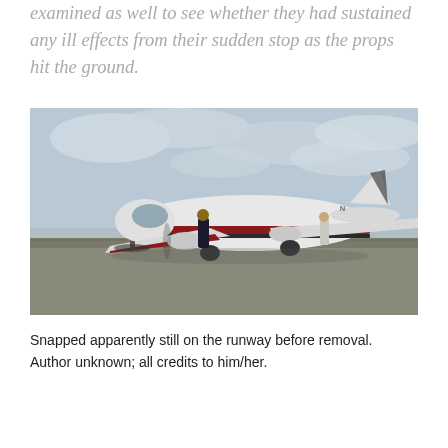examined as well to see whether they had sustained any ill effects from their sudden stop as the props hit the ground.
[Figure (photo): A small twin-engine propeller airplane (white with red and black stripes) sitting on a runway with its nose gear collapsed, resting on its propellers. A person in dark uniform stands near the cockpit. Another person stands near the wing. Overcast sky in the background.]
Snapped apparently still on the runway before removal. Author unknown; all credits to him/her.